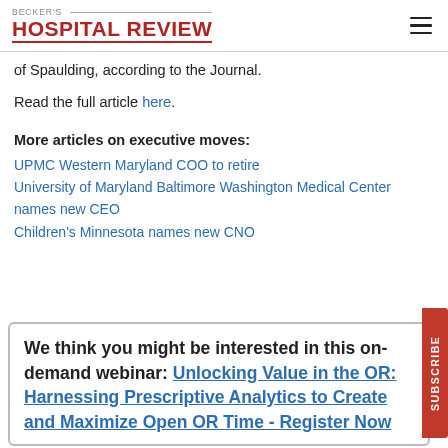BECKER'S HOSPITAL REVIEW
of Spaulding, according to the Journal.
Read the full article here.
More articles on executive moves:
UPMC Western Maryland COO to retire
University of Maryland Baltimore Washington Medical Center names new CEO
Children's Minnesota names new CNO
We think you might be interested in this on-demand webinar: Unlocking Value in the OR: Harnessing Prescriptive Analytics to Create and Maximize Open OR Time - Register Now